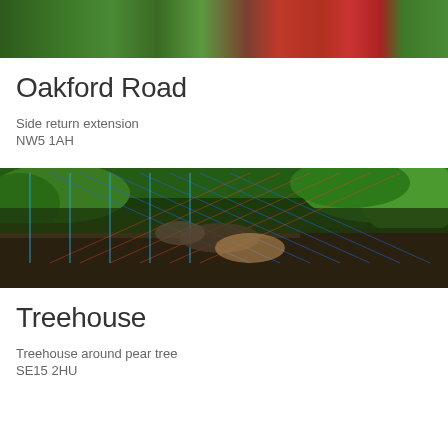[Figure (photo): Photo of Oakford Road property showing greenery and a red door entrance]
Oakford Road
Side return extension
NW5 1AH
[Figure (photo): Photo of treehouse with colourful hammock net among trees]
Treehouse
Treehouse around pear tree
SE15 2HU